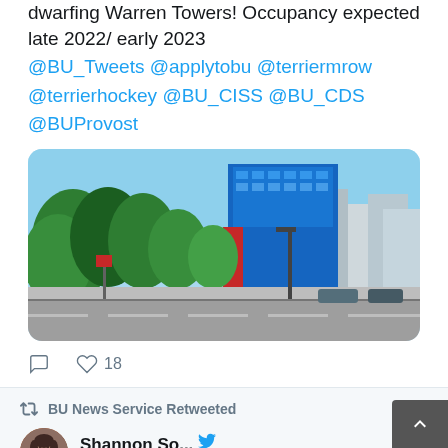dwarfing Warren Towers! Occupancy expected late 2022/ early 2023
@BU_Tweets @applytobu @terriermrow @terrierhockey @BU_CISS @BU_CDS @BUProvost
[Figure (photo): Street-level photo of a modern blue building rising above tree-lined urban street, with city skyline in background and blue sky]
18 likes
BU News Service Retweeted
Shannon So... @S... · May 10
I knew almost as soon as I left